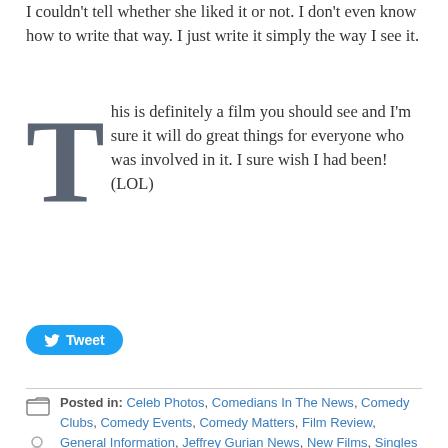I couldn't tell whether she liked it or not. I don't even know how to write that way. I just write it simply the way I see it.
This is definitely a film you should see and I'm sure it will do great things for everyone who was involved in it. I sure wish I had been! (LOL)
Tweet
Posted in: Celeb Photos, Comedians In The News, Comedy Clubs, Comedy Events, Comedy Matters, Film Review, General Information, Jeffrey Gurian News, New Films, Singles Events